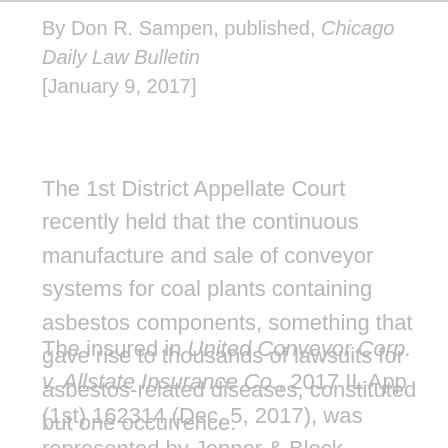By Don R. Sampen, published, Chicago Daily Law Bulletin [January 9, 2017]
The 1st District Appellate Court recently held that the continuous manufacture and sale of conveyor systems for coal plants containing asbestos components, something that gave rise to thousands of lawsuits for asbestos-related diseases, constituted but one occurrence.
The insured in United Conveyor Corp. v. Allstate Insurance Co., 2017 IL App (1st) 162314 (Dec. 5, 2017), was represented by Jenner & Block, Dentons U.S. LLP